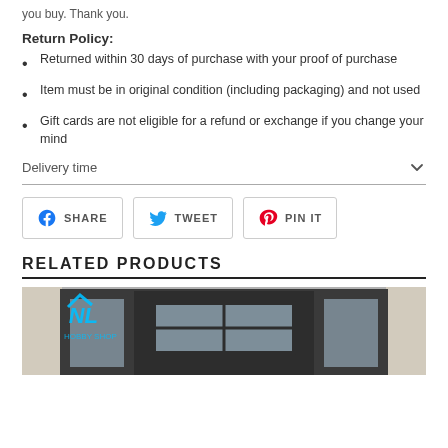you buy. Thank you.
Return Policy:
Returned within 30 days of purchase with your proof of purchase
Item must be in original condition (including packaging) and not used
Gift cards are not eligible for a refund or exchange if you change your mind
Delivery time
[Figure (other): Share, Tweet, and Pin It social media buttons]
RELATED PRODUCTS
[Figure (photo): Photo of a dark-framed door with windows, with a logo watermark in the top left corner]